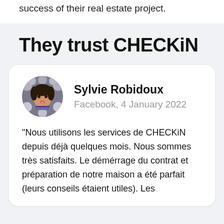success of their real estate project.
They trust CHECKiN
[Figure (photo): Circular profile photo of Sylvie Robidoux, a woman with dark hair making a playful face surrounded by decorative balls]
Sylvie Robidoux
Facebook, 4 January 2022
"Nous utilisons les services de CHECKiN depuis déjà quelques mois. Nous sommes très satisfaits. Le démérrage du contrat et préparation de notre maison a été parfait (leurs conseils étaient utiles). Les